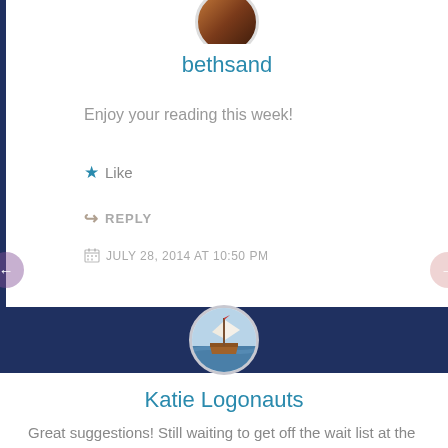[Figure (photo): Circular avatar photo of bethsand user, cropped at top]
bethsand
Enjoy your reading this week!
★ Like
↪ REPLY
JULY 28, 2014 AT 10:50 PM
[Figure (photo): Circular avatar photo of Katie Logonauts showing a sailing ship on water]
Katie Logonauts
Great suggestions! Still waiting to get off the wait list at the library for Absolutely Almost.